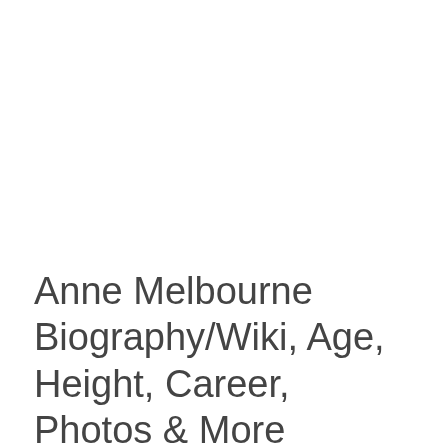Anne Melbourne Biography/Wiki, Age, Height, Career, Photos & More